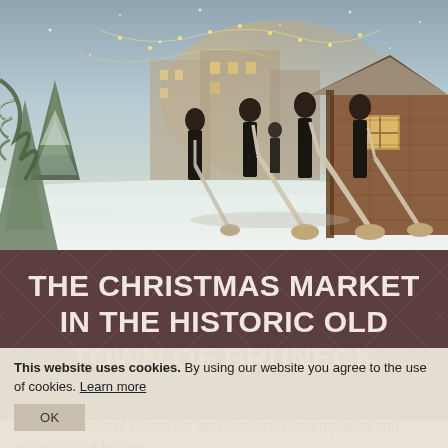[Figure (photo): Outdoor winter Christmas market scene in Bruneck's historic old town. Several men in dark coats and hats play large alphorns in a snowy town square. Snow-covered Christmas trees and festive lights are visible on the left, and a traditional wooden market hut is on the right. Buildings and warm holiday lights are in the background.]
THE CHRISTMAS MARKET IN THE HISTORIC OLD TOWN OF BRUNECK
This website uses cookies. By using our website you agree to the use of cookies. Learn more
OK
...the Bruneck Christmas Market in the town centre is a highlight of the ...er months of December and January. Contemplative and authentic, the festive...